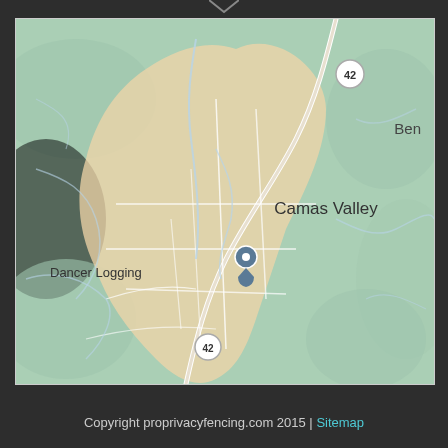[Figure (map): Google Maps style map showing Camas Valley area in Oregon. A peach/beige shaded region marks the Camas Valley locality. A map pin labeled 'Dancer Logging' is visible on the left side. Route 42 highway markers appear twice. The label 'Ben' is partially visible at top right. Green terrain background with white roads and light blue waterways.]
Copyright proprivacyfencing.com 2015 | Sitemap